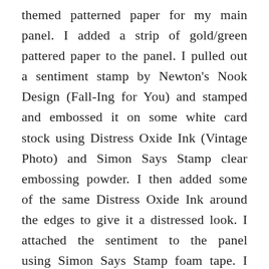themed patterned paper for my main panel. I added a strip of gold/green pattered paper to the panel. I pulled out a sentiment stamp by Newton's Nook Design (Fall-Ing for You) and stamped and embossed it on some white card stock using Distress Oxide Ink (Vintage Photo) and Simon Says Stamp clear embossing powder. I then added some of the same Distress Oxide Ink around the edges to give it a distressed look. I attached the sentiment to the panel using Simon Says Stamp foam tape. I then pulled out some sequins I had in my stash (I think they are old Doodlebug sequins) and attached them to the panel using Art Glitter Glue. I used my AGT tape to layer the panel on some sand colored card stock and then layered that onto some dark brown card stock from my stash. I'm very ready for fall and hopeful that this change of season will bring more positive changes to our world. Thank you to all the creators who continue to inspire me to be a better version